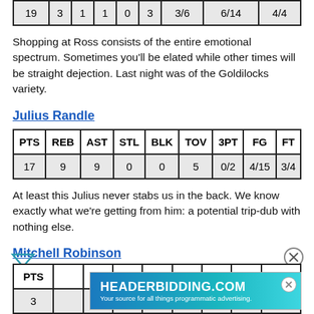| PTS | REB | AST | STL | BLK | TOV | 3PT | FG | FT |
| --- | --- | --- | --- | --- | --- | --- | --- | --- |
| 19 | 3 | 1 | 1 | 0 | 3 | 3/6 | 6/14 | 4/4 |
Shopping at Ross consists of the entire emotional spectrum. Sometimes you'll be elated while other times will be straight dejection. Last night was of the Goldilocks variety.
Julius Randle
| PTS | REB | AST | STL | BLK | TOV | 3PT | FG | FT |
| --- | --- | --- | --- | --- | --- | --- | --- | --- |
| 17 | 9 | 9 | 0 | 0 | 5 | 0/2 | 4/15 | 3/4 |
At least this Julius never stabs us in the back. We know exactly what we're getting from him: a potential trip-dub with nothing else.
Mitchell Robinson
| PTS | REB | AST | STL | BLK | TOV | 3PT | FG | FT |
| --- | --- | --- | --- | --- | --- | --- | --- | --- |
| 3 | ... | ... | ... | ... | ... | ... | ... | 1/2 |